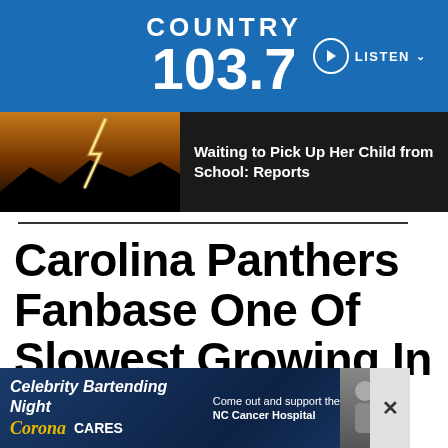COUNTRY 103.7
[Figure (screenshot): Lightning strike photo over dark mountains with orange sky, with text overlay: Waiting to Pick Up Her Child from School: Reports]
Carolina Panthers Fanbase One Of Slowest Growing In NFL
[Figure (infographic): Advertisement banner: Celebrity Bartending Night - Corona Cares - Come out and support the NC Cancer Hospital]